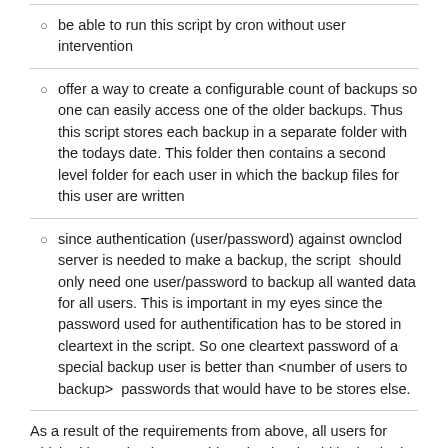be able to run this script by cron without user intervention
offer a way to create a configurable count of backups so one can easily access one of the older backups. Thus this script stores each backup in a separate folder with the todays date. This folder then contains a second level folder for each user in which the backup files for this user are written
since authentication (user/password) against ownclod server is needed to make a backup, the script  should only need one user/password to backup all wanted data for all users. This is important in my eyes since the password used for authentification has to be stored in cleartext in the script. So one cleartext password of a special backup user is better than <number of users to backup>  passwords that would have to be stores else.
As a result of the requirements from above, all users for which either calendars or addressbooks should be backed up, have to share each calendar, each addressbook read only to the owncloud backup user which by default is named "backup" (see AUTHUSER Shellvariable).
The script is designed for small home owncloud installations, since the way the backup is done via one single backup user to which all owncloud users have to share their calendars and addressbooks for backup is certainly not well suited for an installation with hundreds...